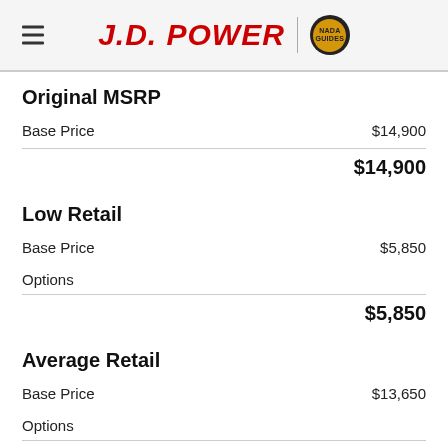J.D. POWER | NADA
Original MSRP
|  |  |
| --- | --- |
| Base Price | $14,900 |
| Total | $14,900 |
Low Retail
|  |  |
| --- | --- |
| Base Price | $5,850 |
| Options |  |
| Total | $5,850 |
Average Retail
|  |  |
| --- | --- |
| Base Price | $13,650 |
| Options |  |
| Total | $13,650 |